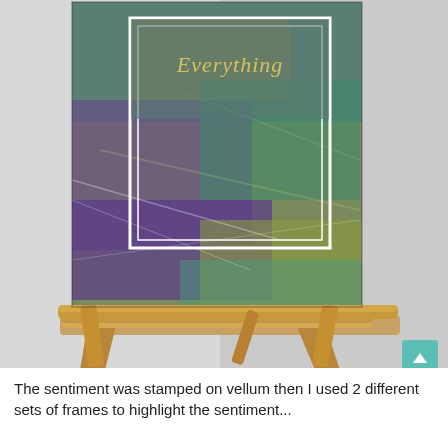[Figure (photo): A handmade greeting card with iridescent mixed-media background in purple, teal, and gold hues, featuring the script word 'Everything' in gold on a white-framed panel, displayed on a wooden easel stand against a light gray background.]
The sentiment was stamped on vellum then I used 2 different sets of frames to highlight the sentiment...